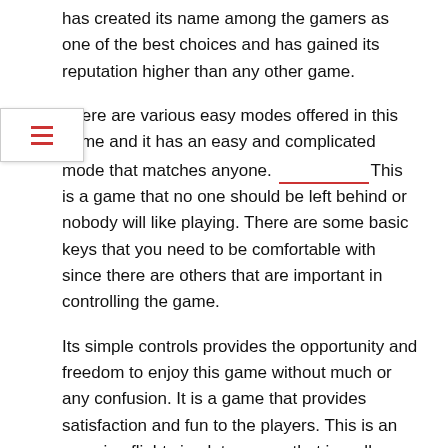has created its name among the gamers as one of the best choices and has gained its reputation higher than any other game.
There are various easy modes offered in this game and it has an easy and complicated mode that matches anyone. ____________ This is a game that no one should be left behind or nobody will like playing. There are some basic keys that you need to be comfortable with since there are others that are important in controlling the game.
Its simple controls provides the opportunity and freedom to enjoy this game without much or any confusion. It is a game that provides satisfaction and fun to the players. This is an amazing flight simulator game that is well worth the experience and love of the simulation. This is something that definitely makes the players feel like they have been a pilot or at least tried it before.